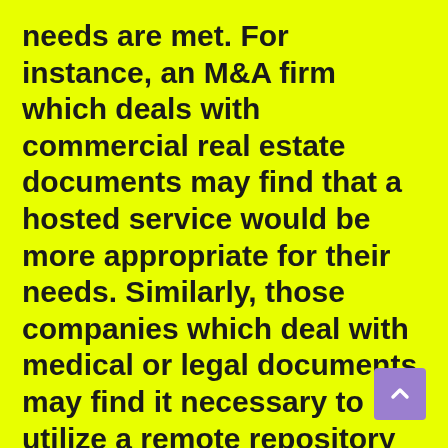needs are met. For instance, an M&A firm which deals with commercial real estate documents may find that a hosted service would be more appropriate for their needs. Similarly, those companies which deal with medical or legal documents may find it necessary to utilize a remote repository service that may not be provided by on-demand providers.
When evaluating the various options, one encounters when searching for a provider for their data room, it’s important to understand that “off-the-shelf” does not necessarily equate with “right.” Although most third-party document repositories offer...